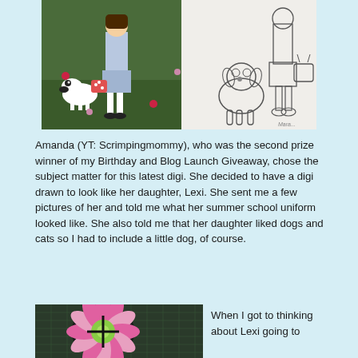[Figure (photo): Two overlapping illustrations/photos: left side shows a colored artwork of a girl in a plaid skirt with a small black-and-white dog and a polka-dot bag on a green background with flowers; right side shows a pencil sketch of a girl in a school uniform with a poodle sitting beside her.]
Amanda (YT: Scrimpingmommy), who was the second prize winner of my Birthday and Blog Launch Giveaway, chose the subject matter for this latest digi. She decided to have a digi drawn to look like her daughter, Lexi. She sent me a few pictures of her and told me what her summer school uniform looked like. She also told me that her daughter liked dogs and cats so I had to include a little dog, of course.
[Figure (photo): A colorful photo of what appears to be a decorative flower or paper craft with pink and green colors on a dark grid background.]
When I got to thinking about Lexi going to